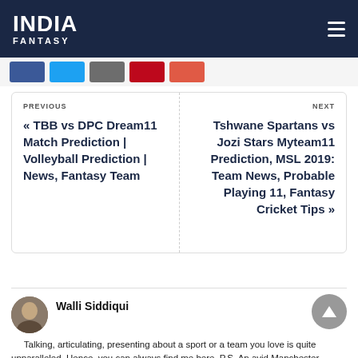INDIA FANTASY
[Figure (other): Social share buttons: Facebook, Twitter, Google, Pinterest, and another share button]
PREVIOUS
« TBB vs DPC Dream11 Match Prediction | Volleyball Prediction | News, Fantasy Team
NEXT
Tshwane Spartans vs Jozi Stars Myteam11 Prediction, MSL 2019: Team News, Probable Playing 11, Fantasy Cricket Tips »
Walli Siddiqui
Talking, articulating, presenting about a sport or a team you love is quite unparalleled, Hence, you can always find me here. P.S. An avid Manchester United fan.